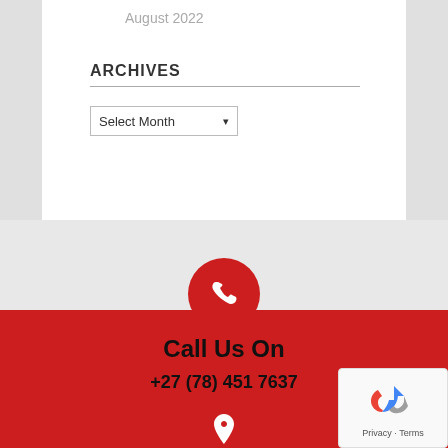August 2022
ARCHIVES
[Figure (screenshot): Select Month dropdown widget]
[Figure (infographic): Red circle with white phone icon, Call Us On section with phone number +27 (78) 451 7637 and map pin icon on red background]
Call Us On
+27 (78) 451 7637